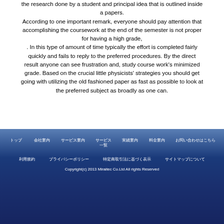the research done by a student and principal idea that is outlined inside a papers. According to one important remark, everyone should pay attention that accomplishing the coursework at the end of the semester is not proper for having a high grade, . In this type of amount of time typically the effort is completed fairly quickly and fails to reply to the preferred procedures. By the direct result anyone can see frustration and, study course work's minimized grade. Based on the crucial little physicists' strategies you should get going with utilizing the old fashioned paper as fast as possible to look at the preferred subject as broadly as one can.
Copyright(c) 2013 Miraitec Co.Ltd All rights Reserved